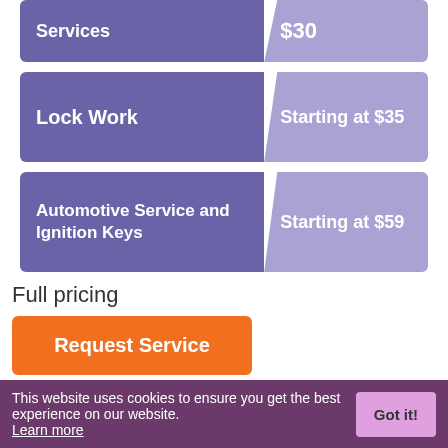| Service | Price |
| --- | --- |
| Services | $30 |
| Lock Work | Starting at $35 |
| Automotive Service and Ignition Keys | Starting at $59 |
Full pricing
Request Service
This website uses cookies to ensure you get the best experience on our website. Learn more  Got it!